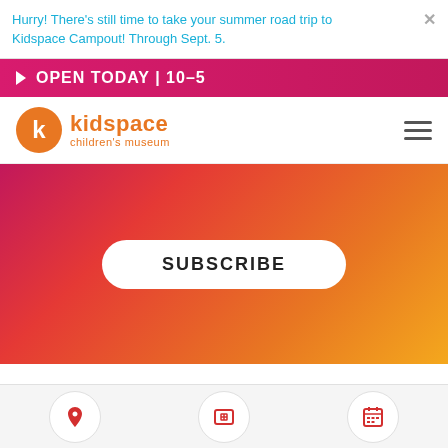Hurry! There's still time to take your summer road trip to Kidspace Campout! Through Sept. 5.
OPEN TODAY | 10–5
[Figure (logo): Kidspace Children's Museum logo with orange circle K icon and orange text]
[Figure (other): Subscribe button over gradient background (pink to orange)]
Kidspace Children's Museum
480 N. Arroyo Blvd.
Pasadena, CA 91103
[Figure (infographic): Bottom navigation bar with three icon buttons: map pin (location), ticket, and calendar]